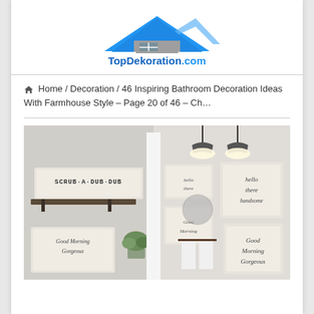[Figure (logo): TopDekoration.com logo with a house/roof icon in blue and gray and the text 'TopDekoration.com' in blue]
🏠 Home / Decoration / 46 Inspiring Bathroom Decoration Ideas With Farmhouse Style – Page 20 of 46 – Ch…
[Figure (photo): Farmhouse-style bathroom decoration photo showing framed signs including 'Scrub-A-Dub-Dub', 'Good Morning Gorgeous', and 'hello there handsome' with rustic bathroom fixtures and industrial pendant lights]